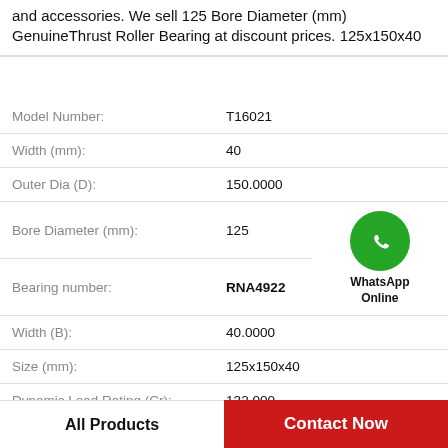and accessories. We sell 125 Bore Diameter (mm) GenuineThrust Roller Bearing at discount prices. 125x150x40
| Property | Value |
| --- | --- |
| Model Number: | T16021 |
| Width (mm): | 40 |
| Outer Dia (D): | 150.0000 |
| Bore Diameter (mm): | 125 |
| Bearing number: | RNA4922 |
| Width (B): | 40.0000 |
| Size (mm): | 125x150x40 |
| Dynamic Load Rating (Cr): | 132,000 |
[Figure (logo): WhatsApp Online green circle icon with phone handset, labeled WhatsApp Online]
All Products
Contact Now